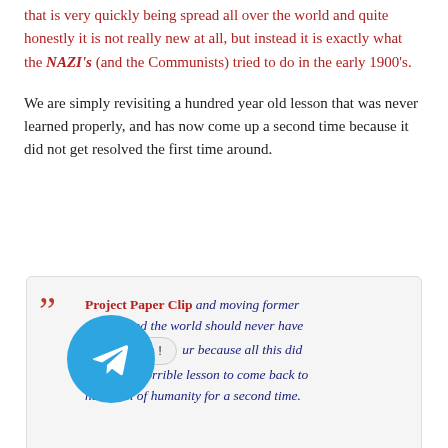that is very quickly being spread all over the world and quite honestly it is not really new at all, but instead it is exactly what the NAZI's (and the Communists) tried to do in the early 1900's.
We are simply revisiting a hundred year old lesson that was never learned properly, and has now come up a second time because it did not get resolved the first time around.
Project Paper Clip and moving former NAZI's around the world should never have occurred because all this did was force this horrible lesson to come back to haunt all of humanity for a second time.